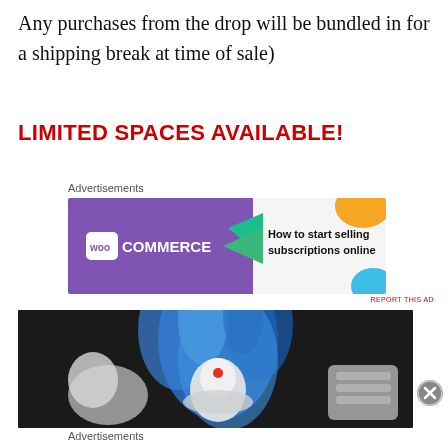Any purchases from the drop will be bundled in for a shipping break at time of sale)
LIMITED SPACES AVAILABLE!
Advertisements
[Figure (screenshot): WooCommerce advertisement banner: purple background with WooCommerce logo and text 'How to start selling subscriptions online']
[Figure (photo): Close-up photo of collectible toy figures with blue flame/smoke effects and a white robot-like figure with a red dot, on dark background]
Advertisements
[Figure (screenshot): DuckDuckGo advertisement: orange background with text 'Search, browse, and email with more privacy. All in One Free App' and DuckDuckGo logo on dark right panel]